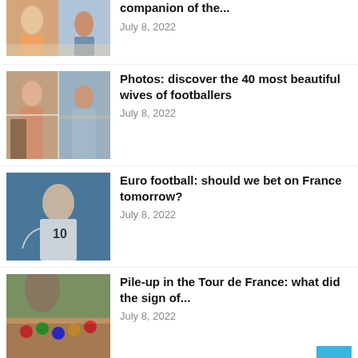[Figure (photo): Thumbnail image of people on a beach/summer setting (partially cropped at top)]
companion of the...
July 8, 2022
[Figure (photo): Thumbnail image collage of women, described as wives of footballers]
Photos: discover the 40 most beautiful wives of footballers
July 8, 2022
[Figure (photo): Thumbnail photo of a football player in white jersey with number 10]
Euro football: should we bet on France tomorrow?
July 8, 2022
[Figure (photo): Thumbnail photo of cyclists in Tour de France with a landmark in the background]
Pile-up in the Tour de France: what did the sign of...
July 8, 2022
[Figure (photo): Thumbnail image related to Paul Pogba article (partially visible)]
Paul Pogba (Euro 2021): who is